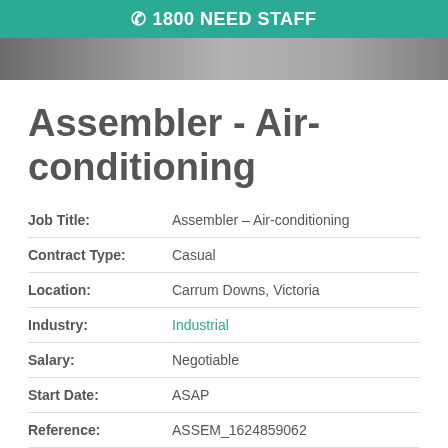☎ 1800 NEED STAFF
Assembler - Air-conditioning
| Field | Value |
| --- | --- |
| Job Title: | Assembler - Air-conditioning |
| Contract Type: | Casual |
| Location: | Carrum Downs, Victoria |
| Industry: | Industrial |
| Salary: | Negotiable |
| Start Date: | ASAP |
| Reference: | ASSEM_1624859062 |
| Contact Name: | Richard McMahon |